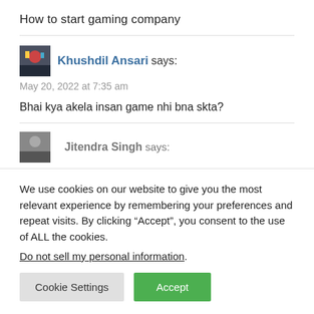How to start gaming company
Khushdil Ansari says:
May 20, 2022 at 7:35 am
Bhai kya akela insan game nhi bna skta?
Jitendra Singh says:
We use cookies on our website to give you the most relevant experience by remembering your preferences and repeat visits. By clicking “Accept”, you consent to the use of ALL the cookies.
Do not sell my personal information.